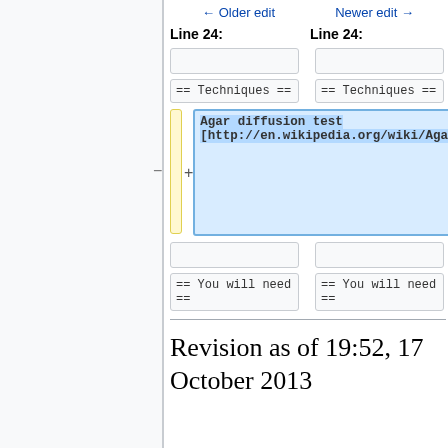← Older edit    Newer edit →
Line 24:    Line 24:
|  |  |
| == Techniques == | == Techniques == |
| (deleted empty) | Agar diffusion test [http://en.wikipedia.org/wiki/Agar_diffusion_test] |
|  |  |
| == You will need == | == You will need == |
Revision as of 19:52, 17 October 2013